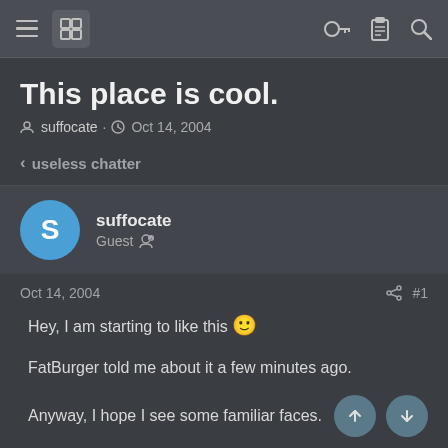Navigation bar with menu, grid icon, key, clipboard, and search icons
This place is cool.
suffocate · Oct 14, 2004
< useless chatter
suffocate
Guest
Oct 14, 2004   #1
Hey, I am starting to like this 🙂

FatBurger told me about it a few minutes ago.

Anyway, I hope I see some familiar faces.